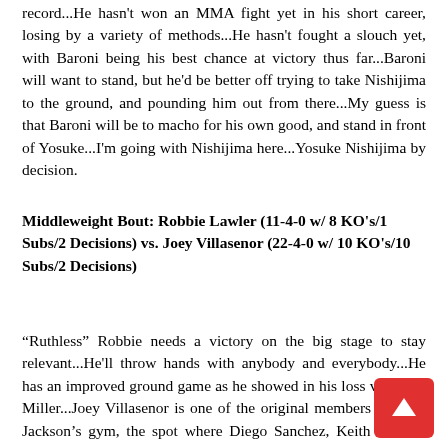record...He hasn't won an MMA fight yet in his short career, losing by a variety of methods...He hasn't fought a slouch yet, with Baroni being his best chance at victory thus far...Baroni will want to stand, but he'd be better off trying to take Nishijima to the ground, and pounding him out from there...My guess is that Baroni will be to macho for his own good, and stand in front of Yosuke...I'm going with Nishijima here...Yosuke Nishijima by decision.
Middleweight Bout: Robbie Lawler (11-4-0 w/ 8 KO's/1 Subs/2 Decisions) vs. Joey Villasenor (22-4-0 w/ 10 KO's/10 Subs/2 Decisions)
“Ruthless” Robbie needs a victory on the big stage to stay relevant...He'll throw hands with anybody and everybody...He has an improved ground game as he showed in his loss vs. Jason Miller...Joey Villasenor is one of the original members of Greg Jackson’s gym, the spot where Diego Sanchez, Keith Jardine, and Nathan Marquardt now call home...Joey's ab s well-rounded a fighter that you'll see on this card...He ha real weakness...He hasn't fought the best competition and